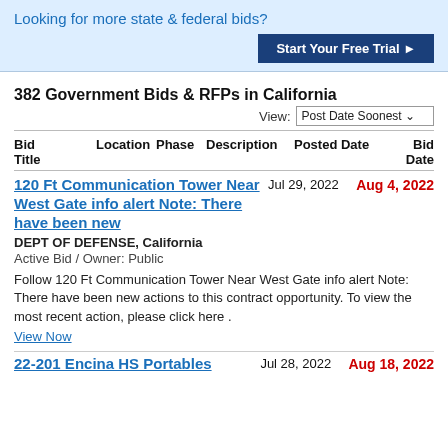Looking for more state & federal bids?
Start Your Free Trial ▶
382 Government Bids & RFPs in California
View: Post Date Soonest
| Bid Title | Location | Phase | Description | Posted Date | Bid Date |
| --- | --- | --- | --- | --- | --- |
120 Ft Communication Tower Near West Gate info alert Note: There have been new
Jul 29, 2022
Aug 4, 2022
DEPT OF DEFENSE, California
Active Bid / Owner: Public
Follow 120 Ft Communication Tower Near West Gate info alert Note: There have been new actions to this contract opportunity. To view the most recent action, please click here .
View Now
22-201 Encina HS Portables
Jul 28, 2022
Aug 18, 2022